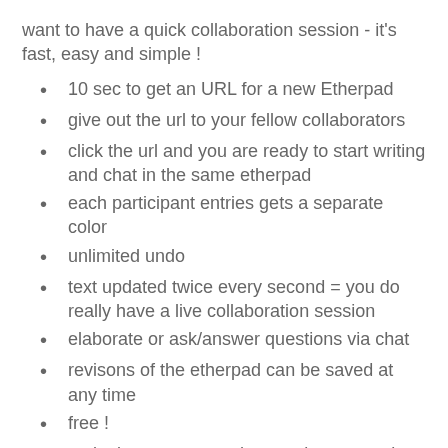want to have a quick collaboration session - it's fast, easy and simple !
10 sec to get an URL for a new Etherpad
give out the url to your fellow collaborators
click the url and you are ready to start writing and chat in the same etherpad
each participant entries gets a separate color
unlimited undo
text updated twice every second = you do really have a live collaboration session
elaborate or ask/answer questions via chat
revisons of the etherpad can be saved at any time
free !
no login or account , thus no time wasted on filling out forms (a planned pro/paid version will include this)
I only miss three things